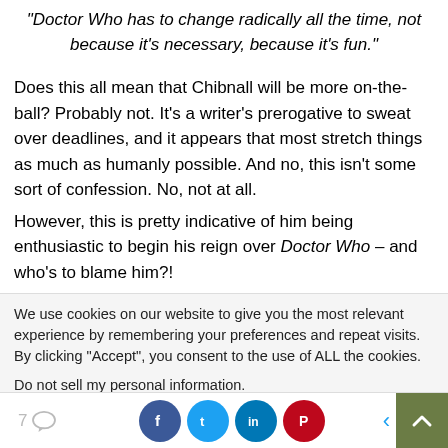"Doctor Who has to change radically all the time, not because it's necessary, because it's fun."
Does this all mean that Chibnall will be more on-the-ball? Probably not. It's a writer's prerogative to sweat over deadlines, and it appears that most stretch things as much as humanly possible. And no, this isn't some sort of confession. No, not at all.
However, this is pretty indicative of him being enthusiastic to begin his reign over Doctor Who – and who's to blame him?!
We use cookies on our website to give you the most relevant experience by remembering your preferences and repeat visits. By clicking "Accept", you consent to the use of ALL the cookies.
Do not sell my personal information.
[Figure (other): Bottom navigation bar with comment count (7), social share icons (Facebook, Twitter, LinkedIn, Pinterest), back arrow, and scroll-to-top button]